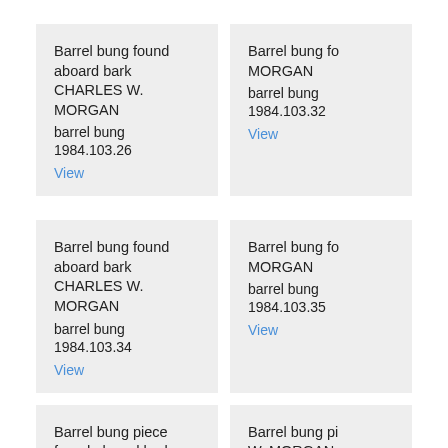Barrel bung found aboard bark CHARLES W. MORGAN
barrel bung
1984.103.26
View
Barrel bung found aboard bark CHARLES W. MORGAN
barrel bung
1984.103.32
View
Barrel bung found aboard bark CHARLES W. MORGAN
barrel bung
1984.103.34
View
Barrel bung found aboard bark CHARLES W. MORGAN
barrel bung
1984.103.35
View
Barrel bung piece found aboard bark CHARLES W. MORGAN
barrel bung piece
1984.103.36
View
Barrel bung piece found aboard bark CHARLES W. MORGAN
barrel bung piece
1984.103.37
View